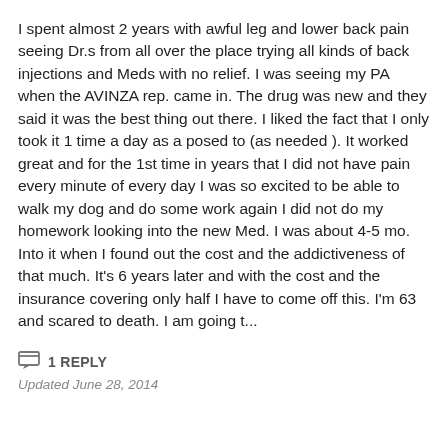I spent almost 2 years with awful leg and lower back pain seeing Dr.s from all over the place trying all kinds of back injections and Meds with no relief. I was seeing my PA when the AVINZA rep. came in. The drug was new and they said it was the best thing out there. I liked the fact that I only took it 1 time a day as a posed to (as needed ). It worked great and for the 1st time in years that I did not have pain every minute of every day I was so excited to be able to walk my dog and do some work again I did not do my homework looking into the new Med. I was about 4-5 mo. Into it when I found out the cost and the addictiveness of that much. It's 6 years later and with the cost and the insurance covering only half I have to come off this. I'm 63 and scared to death. I am going t...
1 REPLY
Updated June 28, 2014